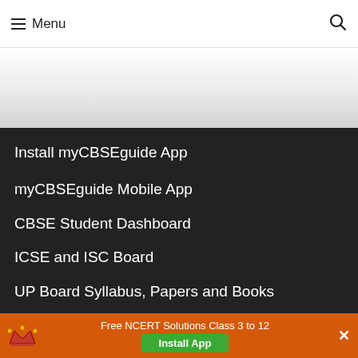Menu
Install myCBSEguide App
myCBSEguide Mobile App
CBSE Student Dashboard
ICSE and ISC Board
UP Board Syllabus, Papers and Books
UK Board UBSE Syllabus
CTET Question Papers
Free NCERT Solutions Class 3 to 12  Install App